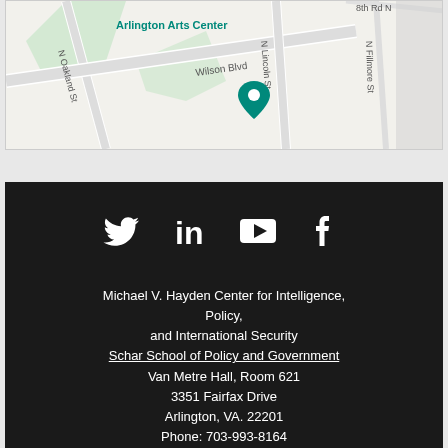[Figure (map): Google Maps screenshot showing Arlington Arts Center area with Wilson Blvd, N Oakland St, N Lincoln St, N Fillmore St, 8th Rd N, and a map pin marker]
[Figure (other): Social media icons: Twitter, LinkedIn, YouTube, Facebook on dark background]
Michael V. Hayden Center for Intelligence, Policy, and International Security
Schar School of Policy and Government
Van Metre Hall, Room 621
3351 Fairfax Drive
Arlington, VA. 22201
Phone: 703-993-8164
Email: hayden@gmu.edu